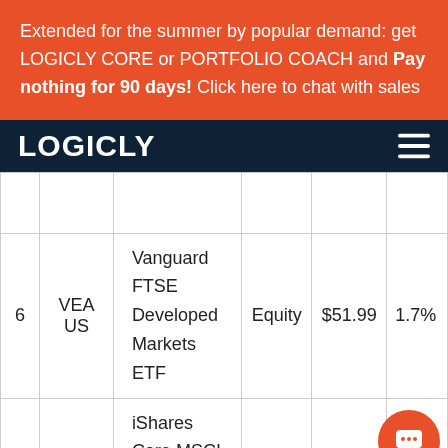Extended for the summer by popular demand: get LOGICLY CORE or PORTFOLIO COACH and Pay nothing for 90 days! Click here to chat with sales
LOGICLY
|  | VEA US | Vanguard FTSE Developed Markets ETF | Equity | $51.99 | 1.7% |
| --- | --- | --- | --- | --- | --- |
|  |  |  |  |  |  |
| 6 | VEA US | Vanguard FTSE Developed Markets ETF | Equity | $51.99 | 1.7% |
|  | IEMG | iShares Core MSCI |  |  |  |